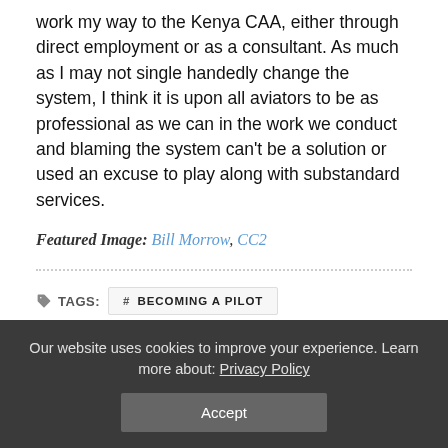work my way to the Kenya CAA, either through direct employment or as a consultant. As much as I may not single handedly change the system, I think it is upon all aviators to be as professional as we can in the work we conduct and blaming the system can't be a solution or used an excuse to play along with substandard services.
Featured Image: Bill Morrow, CC2
# BECOMING A PILOT
# FLIGHT TRAINING
# FLIGHT TRAINING IN KENYA
# PRIVATE PILOT
Our website uses cookies to improve your experience. Learn more about: Privacy Policy
Accept